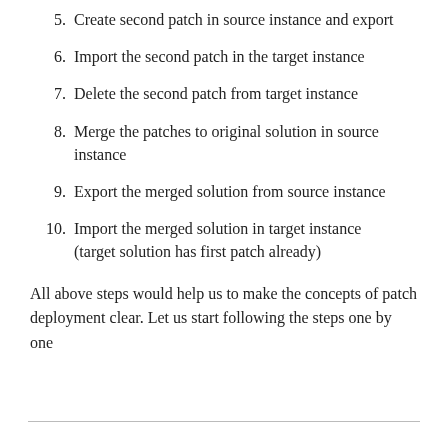5. Create second patch in source instance and export
6. Import the second patch in the target instance
7. Delete the second patch from target instance
8. Merge the patches to original solution in source instance
9. Export the merged solution from source instance
10. Import the merged solution in target instance (target solution has first patch already)
All above steps would help us to make the concepts of patch deployment clear. Let us start following the steps one by one